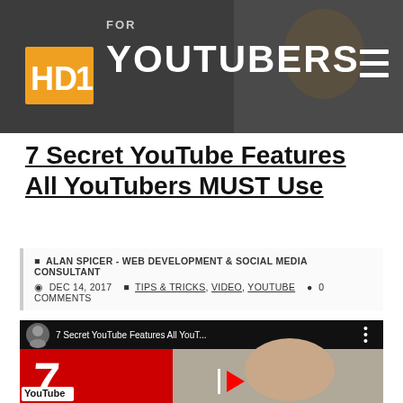[Figure (screenshot): HD1 website header banner with 'FOR YOUTUBERS' text, HD1 orange logo, hamburger menu icon, and a person in the background]
7 Secret YouTube Features All YouTubers MUST Use
ALAN SPICER - WEB DEVELOPMENT & SOCIAL MEDIA CONSULTANT
DEC 14, 2017   TIPS & TRICKS, VIDEO, YOUTUBE   0 COMMENTS
[Figure (screenshot): Embedded YouTube video thumbnail showing '7 Secret YouTube Features All YouT...' with red block showing number 7 and a person's face on the right side]